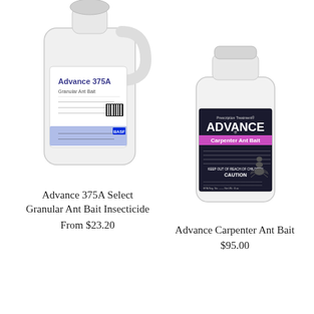[Figure (photo): White plastic jug of Advance 375A Granular Ant Bait Insecticide with label]
Advance 375A Select Granular Ant Bait Insecticide
From $23.20
[Figure (photo): White plastic bottle of Advance Carpenter Ant Bait with dark label showing product info]
Advance Carpenter Ant Bait
$95.00